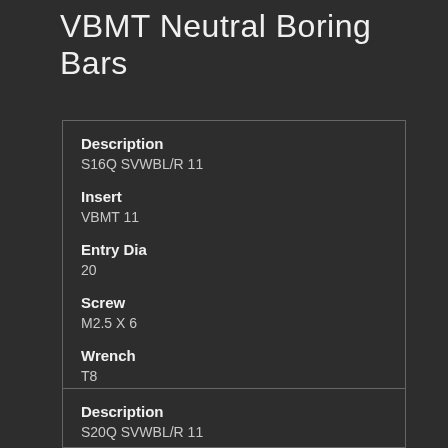VBMT Neutral Boring Bars
| Field | Value |
| --- | --- |
| Description | S16Q SVWBL/R 11 |
| Insert | VBMT 11 |
| Entry Dia | 20 |
| Screw | M2.5 X 6 |
| Wrench | T8 |
| Field | Value |
| --- | --- |
| Description | S20Q SVWBL/R 11 |